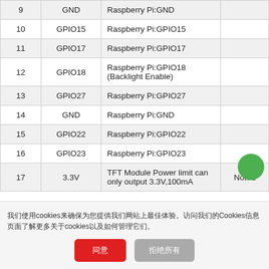| # | Name | Connection | Note |
| --- | --- | --- | --- |
| 9 | GND | Raspberry Pi:GND |  |
| 10 | GPIO15 | Raspberry Pi:GPIO15 |  |
| 11 | GPIO17 | Raspberry Pi:GPIO17 |  |
| 12 | GPIO18 | Raspberry Pi:GPIO18 (Backlight Enable) |  |
| 13 | GPIO27 | Raspberry Pi:GPIO27 |  |
| 14 | GND | Raspberry Pi:GND |  |
| 15 | GPIO22 | Raspberry Pi:GPIO22 |  |
| 16 | GPIO23 | Raspberry Pi:GPIO23 |  |
| 17 | 3.3V | TFT Module Power limit can only output 3.3V,100mA | Note1 |
我们使用cookies来确保为您提供我们网站上最佳体验。访问我们的Cookies信息页面了解更多关于cookies以及如何管理它们。